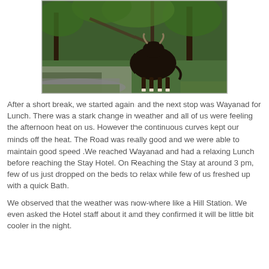[Figure (photo): A gaur (Indian bison) standing on a road surrounded by green forest vegetation, viewed from behind, with trees and shrubs in the background.]
After a short break, we started again and the next stop was Wayanad for Lunch. There was a stark change in weather and all of us were feeling the afternoon heat on us. However the continuous curves kept our minds off the heat. The Road was really good and we were able to maintain good speed .We reached Wayanad and had a relaxing Lunch before reaching the Stay Hotel. On Reaching the Stay at around 3 pm, few of us just dropped on the beds to relax while few of us freshed up with a quick Bath.
We observed that the weather was now-where like a Hill Station. We even asked the Hotel staff about it and they confirmed it will be little bit cooler in the night.